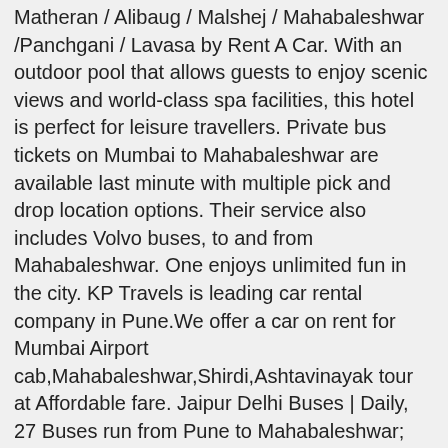Matheran / Alibaug / Malshej / Mahabaleshwar /Panchgani / Lavasa by Rent A Car. With an outdoor pool that allows guests to enjoy scenic views and world-class spa facilities, this hotel is perfect for leisure travellers. Private bus tickets on Mumbai to Mahabaleshwar are available last minute with multiple pick and drop location options. Their service also includes Volvo buses, to and from Mahabaleshwar. One enjoys unlimited fun in the city. KP Travels is leading car rental company in Pune.We offer a car on rent for Mumbai Airport cab,Mahabaleshwar,Shirdi,Ashtavinayak tour at Affordable fare. Jaipur Delhi Buses | Daily, 27 Buses run from Pune to Mahabaleshwar; Currently, 15 bus operators operate on the route, daily. Total 16 buses are GPS enabled on this route so that anyone can track his bus. About the property:The stay Tickets cost ₹550 - ₹800 and the journey takes 9h. Stay assured with 3S of SAFETY. … Choose from wide variety of Villas for your stay in Mahabaleshwar. We have a best price guarantee. Read about company. Stay amidst the captivating beauty and relax your mind and soul away from the monotonous lifestyle.This garden view stay experience comes with... Mahabaleshwar is a